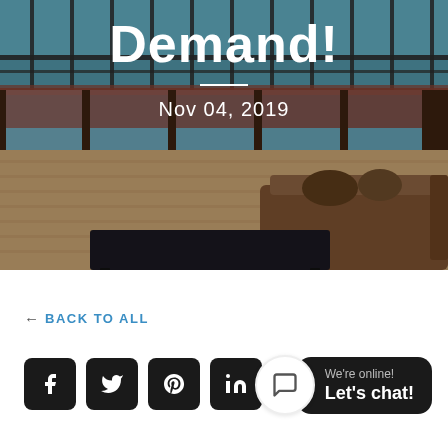[Figure (photo): Hero image of a modern interior room with large glass windows/doors showing a waterfront view, leather sofa, dark coffee table, and wood floor. Overlaid with bold white title text 'Demand!', a horizontal white divider, and the date 'Nov 04, 2019'.]
Demand!
Nov 04, 2019
← BACK TO ALL
[Figure (infographic): Four social media share icons (Facebook, Twitter, Pinterest, LinkedIn) as white icons on black rounded square backgrounds.]
We're online!
Let's chat!